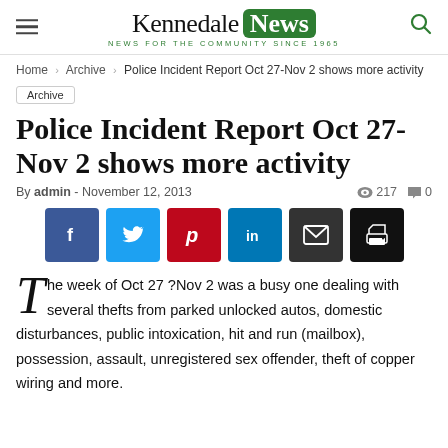Kennedale News — NEWS FOR THE COMMUNITY SINCE 1965
Home › Archive › Police Incident Report Oct 27-Nov 2 shows more activity
Archive
Police Incident Report Oct 27-Nov 2 shows more activity
By admin - November 12, 2013  217  0
[Figure (infographic): Social share buttons: Facebook (blue), Twitter (light blue), Pinterest (red), LinkedIn (dark blue), Email (dark grey), Print (black)]
The week of Oct 27 ?Nov 2 was a busy one dealing with several thefts from parked unlocked autos, domestic disturbances, public intoxication, hit and run (mailbox), possession, assault, unregistered sex offender, theft of copper wiring and more.